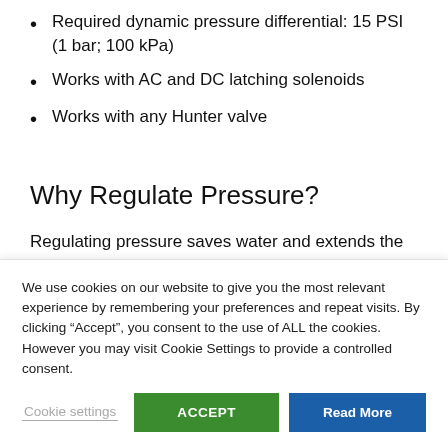Required dynamic pressure differential: 15 PSI (1 bar; 100 kPa)
Works with AC and DC latching solenoids
Works with any Hunter valve
Why Regulate Pressure?
Regulating pressure saves water and extends the life of the irrigation system. Water savings is achieved by providing a lower and more constant pressure from the
We use cookies on our website to give you the most relevant experience by remembering your preferences and repeat visits. By clicking “Accept”, you consent to the use of ALL the cookies. However you may visit Cookie Settings to provide a controlled consent.
Cookie settings | ACCEPT | Read More